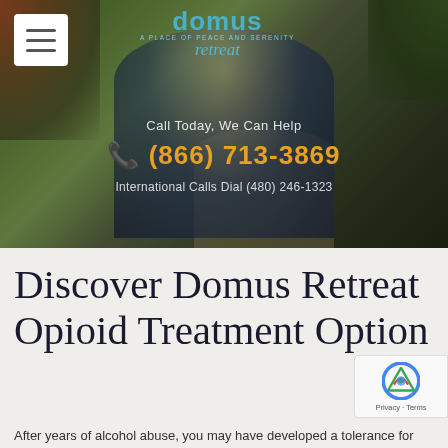[Figure (photo): Hero image of a woman with arms outstretched wearing a striped shirt and white hat, standing on a forest path. Overlaid with Domus Retreat logo, hamburger menu, phone number and international call text.]
Discover Domus Retreat Opioid Treatment Option
After years of alcohol abuse, you may have developed a tolerance for alcohol...